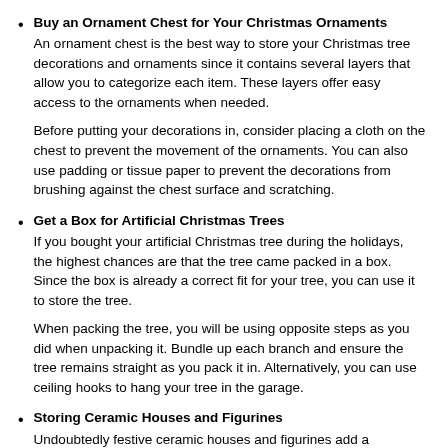Buy an Ornament Chest for Your Christmas Ornaments
An ornament chest is the best way to store your Christmas tree decorations and ornaments since it contains several layers that allow you to categorize each item. These layers offer easy access to the ornaments when needed.

Before putting your decorations in, consider placing a cloth on the chest to prevent the movement of the ornaments. You can also use padding or tissue paper to prevent the decorations from brushing against the chest surface and scratching.
Get a Box for Artificial Christmas Trees
If you bought your artificial Christmas tree during the holidays, the highest chances are that the tree came packed in a box. Since the box is already a correct fit for your tree, you can use it to store the tree.

When packing the tree, you will be using opposite steps as you did when unpacking it. Bundle up each branch and ensure the tree remains straight as you pack it in. Alternatively, you can use ceiling hooks to hang your tree in the garage.
Storing Ceramic Houses and Figurines
Undoubtedly festive ceramic houses and figurines add a gorgeous display during the holidays. However, they can be challenging to pack.